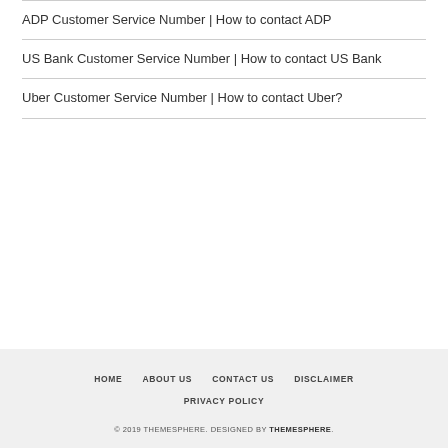ADP Customer Service Number | How to contact ADP
US Bank Customer Service Number | How to contact US Bank
Uber Customer Service Number | How to contact Uber?
HOME  ABOUT US  CONTACT US  DISCLAIMER  PRIVACY POLICY
© 2019 THEMESPHERE. DESIGNED BY THEMESPHERE.